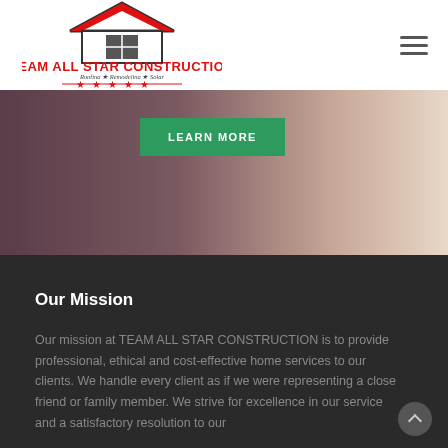[Figure (logo): Team All Star Construction logo with house roof icon and tagline Roofing * Remodeling * Solar with red stars]
[Figure (photo): Hero background photo of a person sitting on a couch with warm tones, partially visible]
LEARN MORE
Our Mission
Our mission at TEAM ALL STAR CONSTRUCTION is to provide professional, ethical and cost-effective home services to our clients. We handle every client as if we were representing a close friend or family member. We strive for excellence in our service and a satisfactory resolution to our